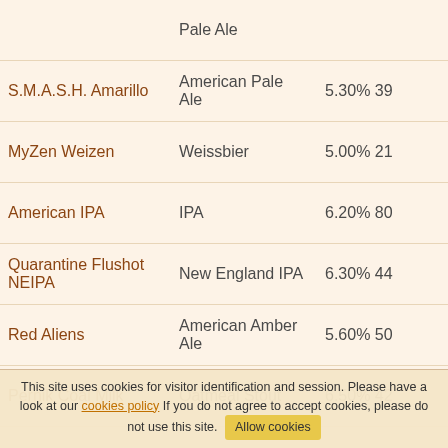| Name | Style | ABV / IBU | Color |
| --- | --- | --- | --- |
| (Pale Ale - partial) | Pale Ale |  |  |
| S.M.A.S.H. Amarillo | American Pale Ale | 5.30% 39 | amber |
| MyZen Weizen | Weissbier | 5.00% 21 | amber |
| American IPA | IPA | 6.20% 80 | amber-orange |
| Quarantine Flushot NEIPA | New England IPA | 6.30% 44 | amber |
| Red Aliens | American Amber Ale | 5.60% 50 | dark-amber |
| Pernik Coal Milk | Oatmeal Stout | 6.50% 42 | very-dark |
| Tease Me, Pils Me | Czech Lager | 4.70% 33 | amber |
| (partial) | Session |  |  |
This site uses cookies for visitor identification and session. Please have a look at our cookies policy If you do not agree to accept cookies, please do not use this site. Allow cookies